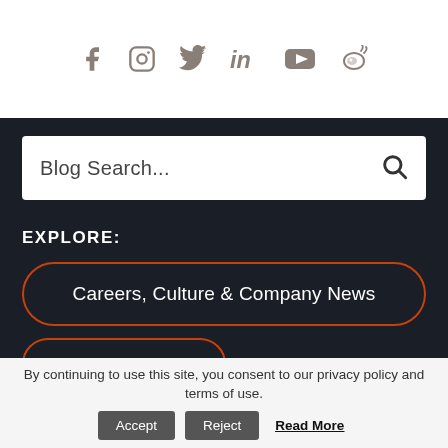[Figure (illustration): Social media icons row: Facebook, Instagram, Twitter, LinkedIn, YouTube, Weibo — displayed in gray/taupe color on white background]
Blog Search...
EXPLORE:
Careers, Culture & Company News
By continuing to use this site, you consent to our privacy policy and terms of use.
Accept
Reject
Read More